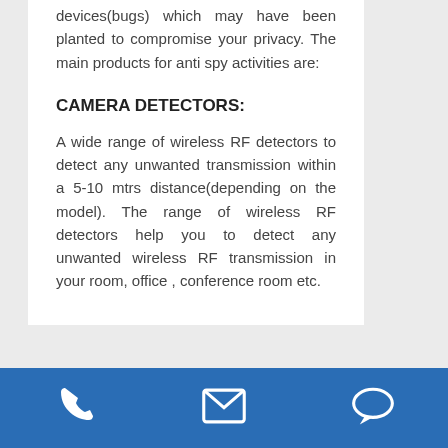devices(bugs) which may have been planted to compromise your privacy. The main products for anti spy activities are:
CAMERA DETECTORS:
A wide range of wireless RF detectors to detect any unwanted transmission within a 5-10 mtrs distance(depending on the model). The range of wireless RF detectors help you to detect any unwanted wireless RF transmission in your room, office , conference room etc.
[Figure (infographic): Blue footer bar with three white icons: phone, envelope/email, and speech bubble/chat]